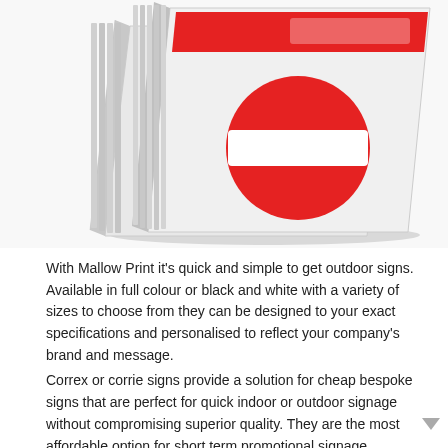[Figure (photo): Correx/corrie sign boards shown in perspective view — two white corrugated plastic boards stacked slightly offset, the front board displaying a red rectangular banner at top and a red circle (no-entry style sign) with white horizontal bar in the center.]
With Mallow Print it's quick and simple to get outdoor signs. Available in full colour or black and white with a variety of sizes to choose from they can be designed to your exact specifications and personalised to reflect your company's brand and message.
Correx or corrie signs provide a solution for cheap bespoke signs that are perfect for quick indoor or outdoor signage without compromising superior quality. They are the most affordable option for short term promotional signage.
Foamex advertising boards are seen everywhere, from your neighbour's building site to the local store; our 5mm Foamex display boards are